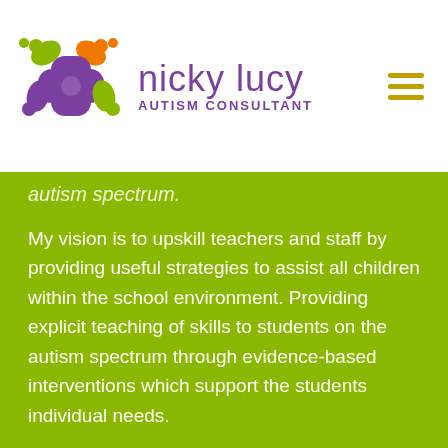[Figure (logo): Nicky Lucy Autism Consultant logo with colorful puzzle-piece cross icon in purple, green, and orange, with company name in purple and subtitle in uppercase purple text. Hamburger menu icon on the right.]
autism spectrum.
My vision is to upskill teachers and staff by providing useful strategies to assist all children within the school environment. Providing explicit teaching of skills to students on the autism spectrum through evidence-based interventions which support the students individual needs.
These strategies support teachers improve social, communication and organisation skills, task motivation and tangible reward systems for